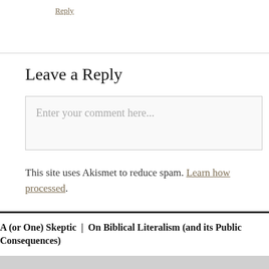Reply
Leave a Reply
Enter your comment here...
This site uses Akismet to reduce spam. Learn how processed.
A (or One) Skeptic | On Biblical Literalism (and its Public Consequences)